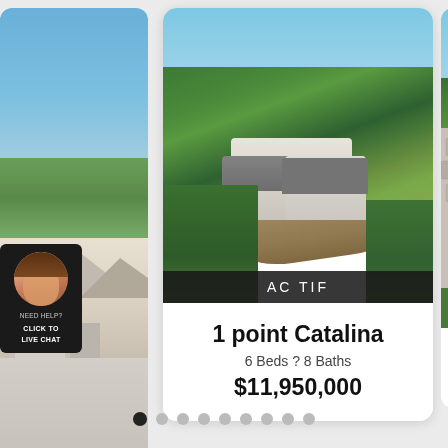[Figure (photo): Left partial property card showing a single-story house with driveway, aerial/street view, with green accessibility icon overlay at bottom]
[Figure (photo): Main center property card with aerial drone photo of large white estate house surrounded by trees and landscaping, with 'AC TIF' status badge overlay]
AC TIF
1 point Catalina
6 Beds ? 8 Baths
$11,950,000
[Figure (photo): Right partial card showing stone/masonry entrance sign with palm tree, partially visible]
[Figure (infographic): Live chat widget showing female agent avatar with 'NEED HELP? CLICK TO LIVE CHAT' text on dark background]
Pagination dots: 9 dots, first one active (black), rest grey